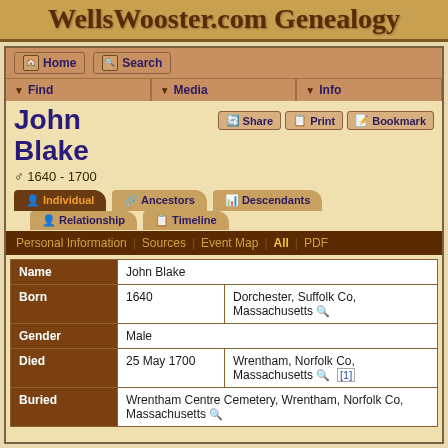WellsWooster.com Genealogy
Home | Search | Find | Media | Info
John Blake
♂ 1640 - 1700
Share | Print | Bookmark
Individual | Ancestors | Descendants | Relationship | Timeline
Personal Information | Sources | Event Map | All | PDF
| Field | Value | Place |
| --- | --- | --- |
| Name | John Blake |  |
| Born | 1640 | Dorchester, Suffolk Co, Massachusetts |
| Gender | Male |  |
| Died | 25 May 1700 | Wrentham, Norfolk Co, Massachusetts [1] |
| Buried | Wrentham Centre Cemetery, Wrentham, Norfolk Co, Massachusetts |  |